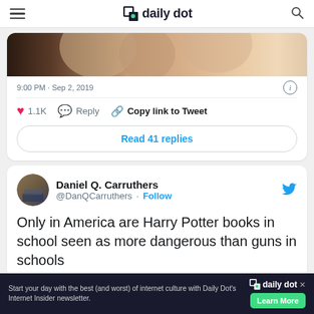daily dot
[Figure (photo): Partial image of illustrated faces, cropped at top, warm tones]
9:00 PM · Sep 2, 2019
1.1K  Reply  Copy link to Tweet
Read 41 replies
Daniel Q. Carruthers @DanQCarruthers · Follow
Only in America are Harry Potter books in school seen as more dangerous than guns in schools
Start your day with the best (and worst) of internet culture with Daily Dot's Internet Insider newsletter.   daily dot  Learn More